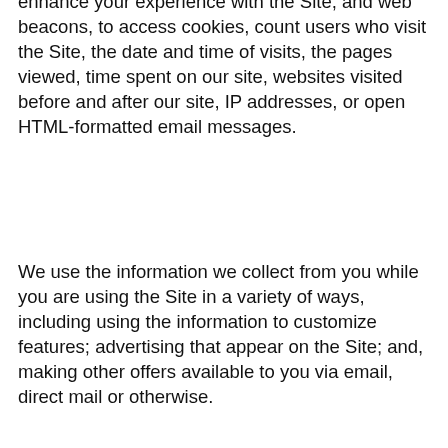enhance your experience with the Site, and web beacons, to access cookies, count users who visit the Site, the date and time of visits, the pages viewed, time spent on our site, websites visited before and after our site, IP addresses, or open HTML-formatted email messages.
We use the information we collect from you while you are using the Site in a variety of ways, including using the information to customize features; advertising that appear on the Site; and, making other offers available to you via email, direct mail or otherwise.